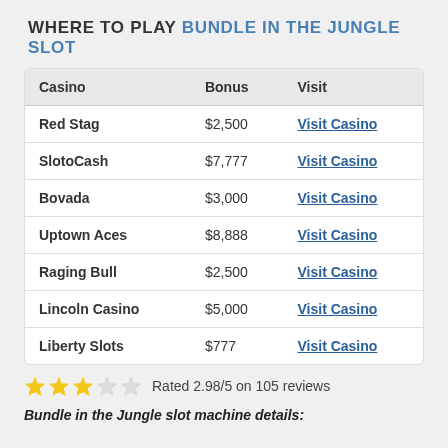WHERE TO PLAY BUNDLE IN THE JUNGLE SLOT
| Casino | Bonus | Visit |
| --- | --- | --- |
| Red Stag | $2,500 | Visit Casino |
| SlotoCash | $7,777 | Visit Casino |
| Bovada | $3,000 | Visit Casino |
| Uptown Aces | $8,888 | Visit Casino |
| Raging Bull | $2,500 | Visit Casino |
| Lincoln Casino | $5,000 | Visit Casino |
| Liberty Slots | $777 | Visit Casino |
Rated 2.98/5 on 105 reviews
Bundle in the Jungle slot machine details: